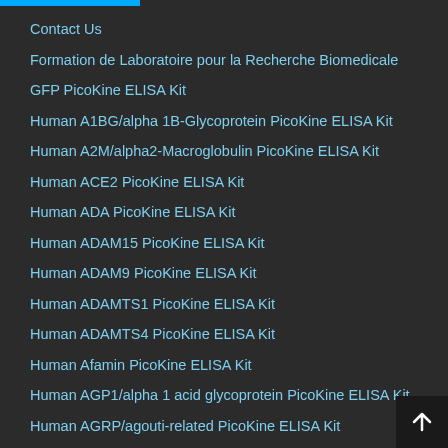Contact Us
Formation de Laboratoire pour la Recherche Biomedicale
GFP PicoKine ELISA Kit
Human A1BG/alpha 1B-Glycoprotein PicoKine ELISA Kit
Human A2M/alpha2-Macroglobulin PicoKine ELISA Kit
Human ACE2 PicoKine ELISA Kit
Human ADA PicoKine ELISA Kit
Human ADAM15 PicoKine ELISA Kit
Human ADAM9 PicoKine ELISA Kit
Human ADAMTS1 PicoKine ELISA Kit
Human ADAMTS4 PicoKine ELISA Kit
Human Afamin PicoKine ELISA Kit
Human AGP1/alpha 1 acid glycoprotein PicoKine ELISA Kit
Human AGRP/agouti-related PicoKine ELISA Kit
Human AGT/Serpin A8 PicoKine ELISA Kit
Human ALCAM PicoKine ELISA Kit
Human ALK-1/ACVRL1 PicoKine ELISA Kit